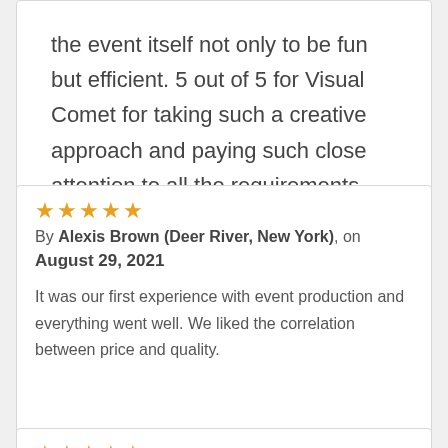the event itself not only to be fun but efficient. 5 out of 5 for Visual Comet for taking such a creative approach and paying such close attention to all the requirements.
★★★★★
By Alexis Brown (Deer River, New York), on August 29, 2021

It was our first experience with event production and everything went well. We liked the correlation between price and quality.
★★★★★
By Greg Levy, on March 18, 2022